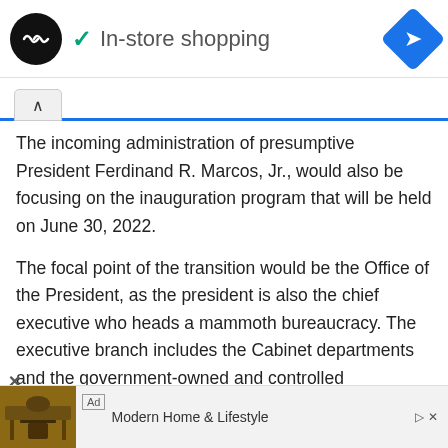[Figure (screenshot): App UI top bar with logo circle, 'In-store shopping' text with checkmark, and blue navigation diamond icon]
The incoming administration of presumptive President Ferdinand R. Marcos, Jr., would also be focusing on the inauguration program that will be held on June 30, 2022.
The focal point of the transition would be the Office of the President, as the president is also the chief executive who heads a mammoth bureaucracy. The executive branch includes the Cabinet departments and the government-owned and controlled corporations.
the local governments... even if their provincial, city
[Figure (photo): Advertisement banner showing modern home furniture - desk and chair - with text 'Modern Home & Lifestyle']